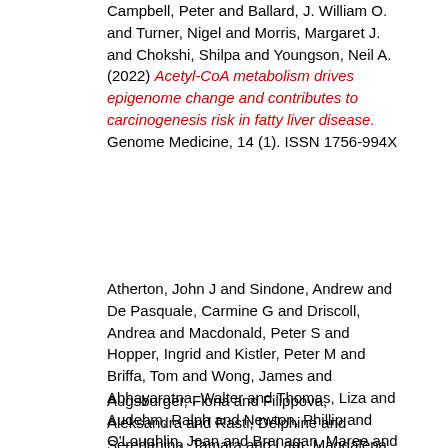Campbell, Peter and Ballard, J. William O. and Turner, Nigel and Morris, Margaret J. and Chokshi, Shilpa and Youngson, Neil A. (2022) Acetyl-CoA metabolism drives epigenome change and contributes to carcinogenesis risk in fatty liver disease. Genome Medicine, 14 (1). ISSN 1756-994X
Atherton, John J and Sindone, Andrew and De Pasquale, Carmine G and Driscoll, Andrea and Macdonald, Peter S and Hopper, Ingrid and Kistler, Peter M and Briffa, Tom and Wong, James and Abhayaratna, Walter and Thomas, Liza and Audehm, Ralph and Newton, Phillip and O'Loughlin, Joan and Branagan, Maree and Connell, Cia (2018) National Heart Foundation of Australia and Cardiac Society of Australia and New Zealand: Guidelines for the Prevention, Detection, and Management of Heart Failure in Australia 2018. Heart, Lung and Circulation, 27 (10). pp.1123-1208. ISSN 14439506 (Gold OA)
Augsburger, Fiona and Filippova, Aleksandra and Rasti, Delphine and Seredenina, Tamara and Lam, Magdalena and Maghzal, Ghassan and Mahiout, Zahia and Jansen-Dürr, Pidder and Knaus, Ulla G. and Doroshow, James